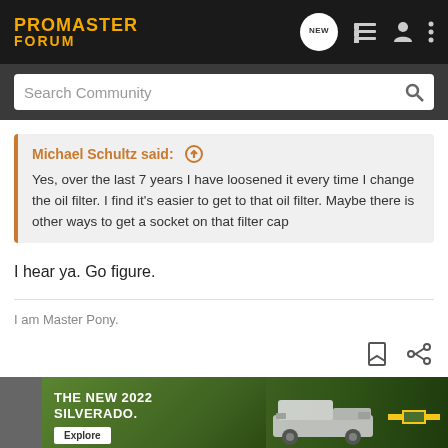PROMASTER FORUM
Search Community
Michael Schultz said: ↑
Yes, over the last 7 years I have loosened it every time I change the oil filter. I find it's easier to get to that oil filter. Maybe there is other ways to get a socket on that filter cap
I hear ya. Go figure.
I am Master Pony.
[Figure (screenshot): Chevrolet advertisement banner for The New 2022 Silverado with an Explore button and Chevrolet logo, showing a truck against a green outdoor background]